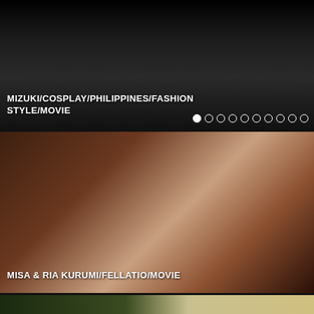[Figure (photo): Person in black cosplay outfit with straps, dark background, partial view of another person with red object]
MIZUKI/COSPLAY/PHILIPPINES/FASHION STYLE/MOVIE
[Figure (photo): Two women with long dark hair leaning over, light background]
MISA & RIA KURUMI/FELLATIO/MOVIE
[Figure (photo): Partial view of bottom panel showing colorful image]